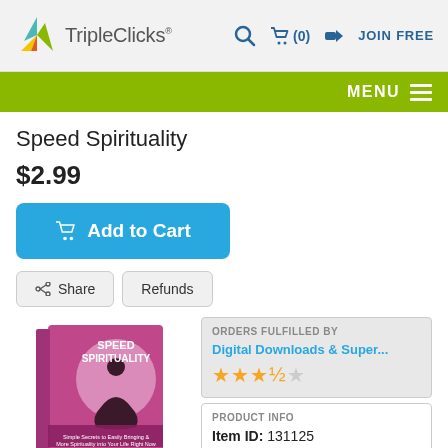TripleClicks — Search, Cart (0), JOIN FREE
[Figure (logo): TripleClicks logo with colorful triangular bird/arrow icon and text 'TripleClicks']
MENU
Speed Spirituality
$2.99
Add to Cart
Share
Refunds
[Figure (photo): Book cover for 'Speed Spirituality' - pink/magenta book with silhouette of meditating person]
ORDERS FULFILLED BY
Digital Downloads & Super...
PRODUCT INFO
Item ID: 131125
TCredit Price: 20